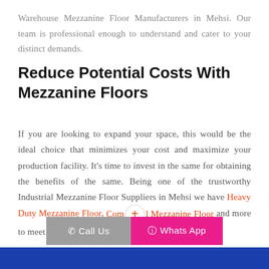Warehouse Mezzanine Floor Manufacturers in Mehsi. Our team is professional enough to understand and cater to your distinct demands.
Reduce Potential Costs With Mezzanine Floors
If you are looking to expand your space, this would be the ideal choice that minimizes your cost and maximize your production facility. It's time to invest in the same for obtaining the benefits of the same. Being one of the trustworthy Industrial Mezzanine Floor Suppliers in Mehsi we have Heavy Duty Mezzanine Floor, Commercial Mezzanine Floor and more to meet your demands. Contact us to know more.
Call Us | Whats App